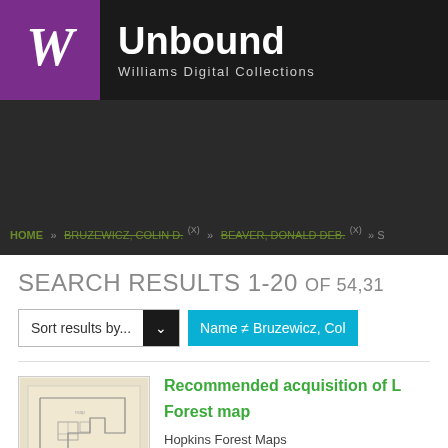W Unbound Williams Digital Collections
HOME » BRUZEWICZ, COLIN D. (X) » BEAVER, DONALD DEB. (X) »
SEARCH RESULTS 1-20 OF 54,31
Sort results by...
Name ≠ Bruzewicz, Col
[Figure (photo): Thumbnail of a hand-drawn map showing building outlines on aged/yellowed paper]
Recommended acquisition of L Forest map Hopkins Forest Maps cartographic